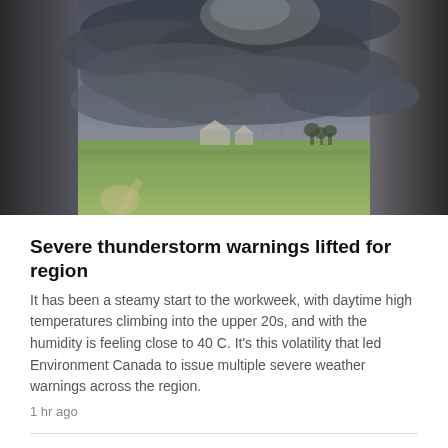[Figure (photo): Dark storm clouds over a flat green agricultural landscape with farm buildings visible on the horizon. The sky is heavily overcast with grey and dark blue storm clouds.]
Severe thunderstorm warnings lifted for region
It has been a steamy start to the workweek, with daytime high temperatures climbing into the upper 20s, and with the humidity is feeling close to 40 C. It's this volatility that led Environment Canada to issue multiple severe weather warnings across the region.
1 hr ago
Vehicle ends up on roof in east London